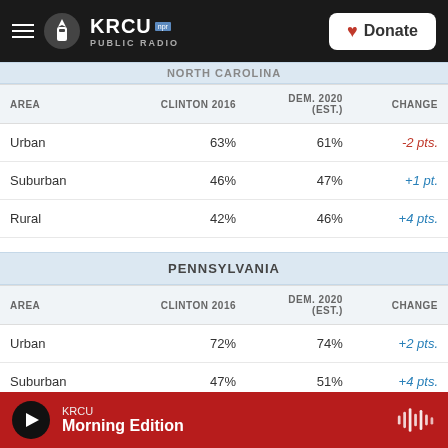KRCU NPR Public Radio | Donate
| AREA | CLINTON 2016 | DEM. 2020 (EST.) | CHANGE |
| --- | --- | --- | --- |
| Urban | 63% | 61% | -2 pts. |
| Suburban | 46% | 47% | +1 pt. |
| Rural | 42% | 46% | +4 pts. |
| AREA | CLINTON 2016 | DEM. 2020 (EST.) | CHANGE |
| --- | --- | --- | --- |
| Urban | 72% | 74% | +2 pts. |
| Suburban | 47% | 51% | +4 pts. |
KRCU Morning Edition